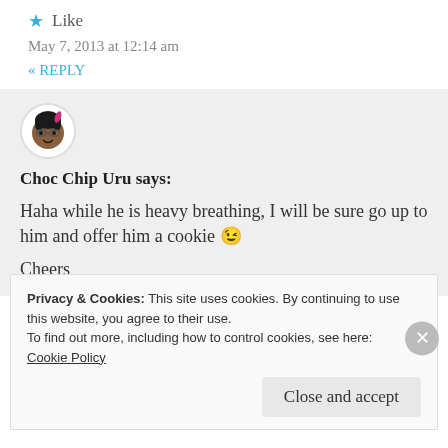★ Like
May 7, 2013 at 12:14 am
« REPLY
[Figure (illustration): Circular avatar of a cartoon girl with dark hair and glasses]
Choc Chip Uru says:
Haha while he is heavy breathing, I will be sure go up to him and offer him a cookie 😉
Cheers
Privacy & Cookies: This site uses cookies. By continuing to use this website, you agree to their use. To find out more, including how to control cookies, see here: Cookie Policy
Close and accept